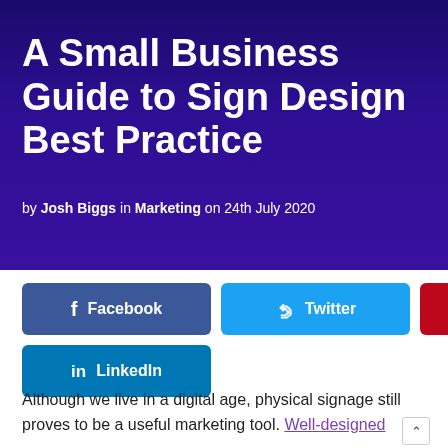[Figure (photo): Dark hero banner with brick/tile texture at top and deep purple/indigo background containing article title and metadata]
A Small Business Guide to Sign Design Best Practice
by Josh Biggs in Marketing on 24th July 2020
Facebook  Twitter  Pinterest  LinkedIn (social share buttons)
Although we live in a digital age, physical signage still proves to be a useful marketing tool. Well-designed